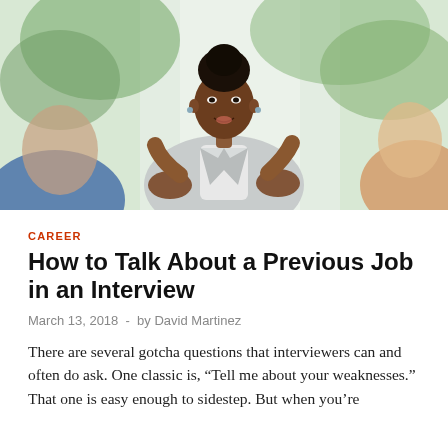[Figure (photo): A Black woman in a light gray blazer gesturing with both hands, speaking confidently in what appears to be a job interview setting, with two blurred figures in the foreground.]
CAREER
How to Talk About a Previous Job in an Interview
March 13, 2018  -  by David Martinez
There are several gotcha questions that interviewers can and often do ask. One classic is, “Tell me about your weaknesses.” That one is easy enough to sidestep. But when you’re